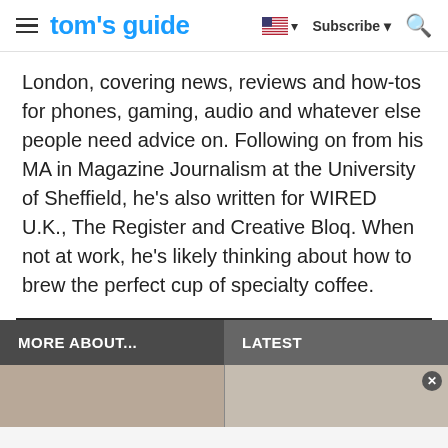tom's guide — Subscribe
London, covering news, reviews and how-tos for phones, gaming, audio and whatever else people need advice on. Following on from his MA in Magazine Journalism at the University of Sheffield, he's also written for WIRED U.K., The Register and Creative Bloq. When not at work, he's likely thinking about how to brew the perfect cup of specialty coffee.
MORE ABOUT...
LATEST
[Figure (photo): Two partial images visible at bottom of page, partially obscured]
[Figure (other): Advertisement/white area at bottom]